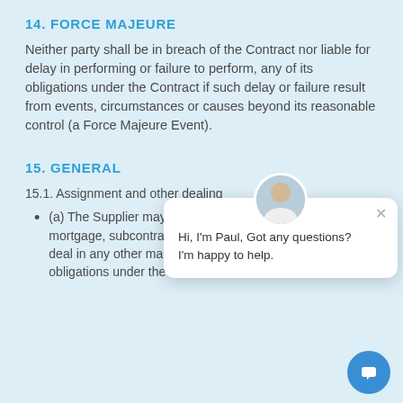14. FORCE MAJEURE
Neither party shall be in breach of the Contract nor liable for delay in performing or failure to perform, any of its obligations under the Contract if such delay or failure result from events, circumstances or causes beyond its reasonable control (a Force Majeure Event).
15. GENERAL
15.1. Assignment and other dealing
(a) The Supplier may, by giving not less than notice assign, mortgage, subcontract, delegate, declare a trust over or deal in any other manner with any of its rights and obligations under the Contract.
[Figure (other): Chat widget overlay showing avatar of Paul with message: Hi, I'm Paul, Got any questions? I'm happy to help. With a close button and a chat button.]